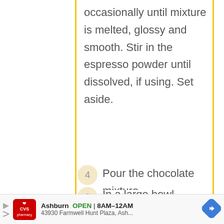occasionally until mixture is melted, glossy and smooth. Stir in the espresso powder until dissolved, if using. Set aside.
3 In a large bowl, combine the eggs, almond extract, vanilla extract, and salt and sugar and beat until thick and pale yellow, about 2 minutes. Fold in the flour until combined.
4 Pour the chocolate mixture
Ashburn OPEN 8AM–12AM 43930 Farmwell Hunt Plaza, Ash...